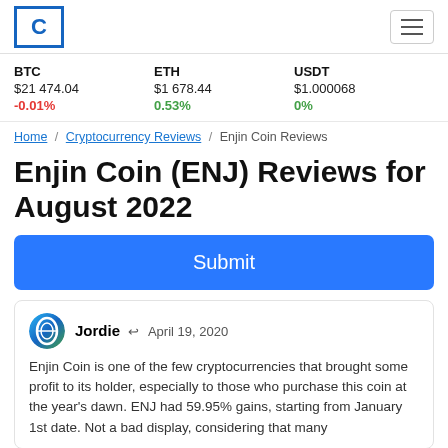Coinbase-style crypto review site header with logo and hamburger menu
BTC $21 474.04 -0.01% | ETH $1 678.44 0.53% | USDT $1.000068 0%
Home / Cryptocurrency Reviews / Enjin Coin Reviews
Enjin Coin (ENJ) Reviews for August 2022
Submit
Jordie April 19, 2020 — Enjin Coin is one of the few cryptocurrencies that brought some profit to its holder, especially to those who purchase this coin at the year's dawn. ENJ had 59.95% gains, starting from January 1st date. Not a bad display, considering that many